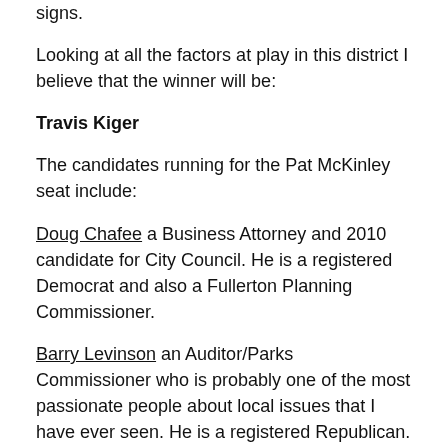door delivery in the mail, manning precincts, or putting up signs.
Looking at all the factors at play in this district I believe that the winner will be:
Travis Kiger
The candidates running for the Pat McKinley seat include:
Doug Chafee a Business Attorney and 2010 candidate for City Council. He is a registered Democrat and also a Fullerton Planning Commissioner.
Barry Levinson an Auditor/Parks Commissioner who is probably one of the most passionate people about local issues that I have ever seen. He is a registered Republican.